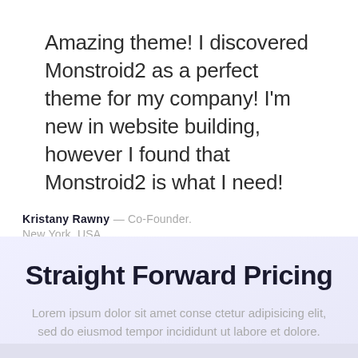Amazing theme! I discovered Monstroid2 as a perfect theme for my company! I'm new in website building, however I found that Monstroid2 is what I need!
Kristany Rawny — Co-Founder. New York, USA
[Figure (other): Three pagination dots: one dark filled, two light gray]
Straight Forward Pricing
Lorem ipsum dolor sit amet conse ctetur adipisicing elit, sed do eiusmod tempor incididunt ut labore et dolore.